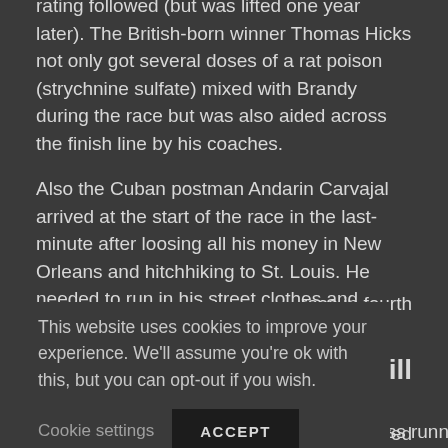rating followed (but was lifted one year later). The British-born winner Thomas Hicks not only got several doses of a rat poison (strychnine sulfate) mixed with Brandy during the race but was also aided across the finish line by his coaches.

Also the Cuban postman Andarin Carvajal arrived at the start of the race in the last-minute after loosing all his money in New Orleans and hitchhiking to St. Louis. He needed to run in his street clothes and hasn't eaten in 40 hours. In an orchard on the Marathon course he ate some rotten apples that gave him strong stomach cramps. Despite that he came in ...race in fourth
This website uses cookies to improve your experience. We'll assume you're ok with this, but you can opt-out if you wish.
Cookie settings   ACCEPT
...ill
...s also featured d holder from the US Joan Benoit won the race, the Swiss runner Gabriela